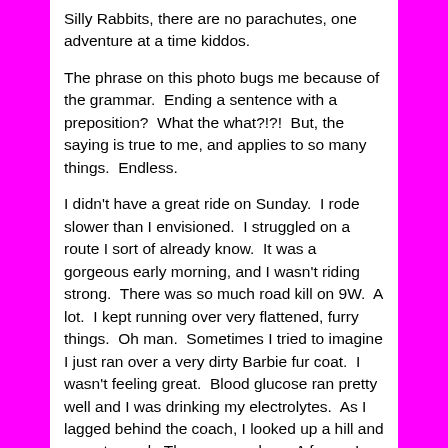Silly Rabbits, there are no parachutes, one adventure at a time kiddos.
The phrase on this photo bugs me because of the grammar.  Ending a sentence with a preposition?  What the what?!?!  But, the saying is true to me, and applies to so many things.  Endless.
I didn't have a great ride on Sunday.  I rode slower than I envisioned.  I struggled on a route I sort of already know.  It was a gorgeous early morning, and I wasn't riding strong.  There was so much road kill on 9W.  A lot.  I kept running over very flattened, furry things.  Oh man.  Sometimes I tried to imagine I just ran over a very dirty Barbie fur coat.  I wasn't feeling great.  Blood glucose ran pretty well and I was drinking my electrolytes.  As I lagged behind the coach, I looked up a hill and was stunned.  There was a deer.  A fawn.  In the shoulder of the road, right in the path.  I yelped to the coach (yelping is a sort of description of a really weird non yell noise that I made).  Cars sped by.  The fawn jumped into the brush and there